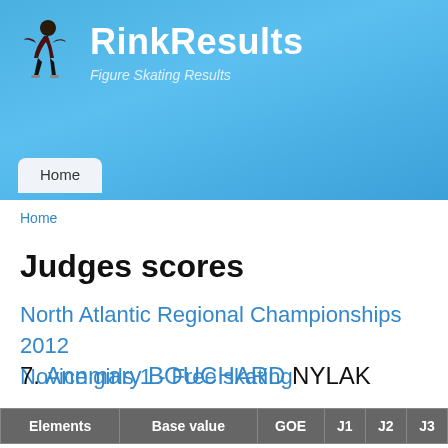RinkResults - Figure Skating Results
Home
Home
Judges scores
North Atlantic Regional Championships 2012 Novice girls 1 - Free skating
7. Annmary BOUCHARD  NYLAK
| Elements | Base value | GOE | J1 | J2 | J3 |
| --- | --- | --- | --- | --- | --- |